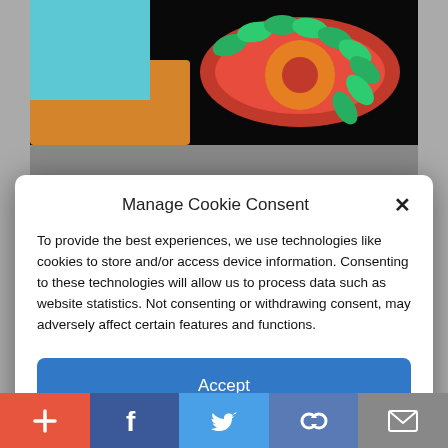[Figure (photo): Colorful food/flower arrangement photo at top of page behind modal overlay]
Manage Cookie Consent
To provide the best experiences, we use technologies like cookies to store and/or access device information. Consenting to these technologies will allow us to process data such as website statistics. Not consenting or withdrawing consent, may adversely affect certain features and functions.
Accept
Cookie Policy  Privacy Policy
[Figure (photo): Photos of people (faces) visible below the cookie consent modal]